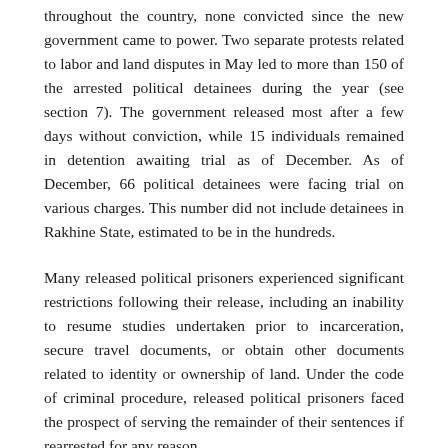throughout the country, none convicted since the new government came to power. Two separate protests related to labor and land disputes in May led to more than 150 of the arrested political detainees during the year (see section 7). The government released most after a few days without conviction, while 15 individuals remained in detention awaiting trial as of December. As of December, 66 political detainees were facing trial on various charges. This number did not include detainees in Rakhine State, estimated to be in the hundreds.
Many released political prisoners experienced significant restrictions following their release, including an inability to resume studies undertaken prior to incarceration, secure travel documents, or obtain other documents related to identity or ownership of land. Under the code of criminal procedure, released political prisoners faced the prospect of serving the remainder of their sentences if rearrested for any reason.